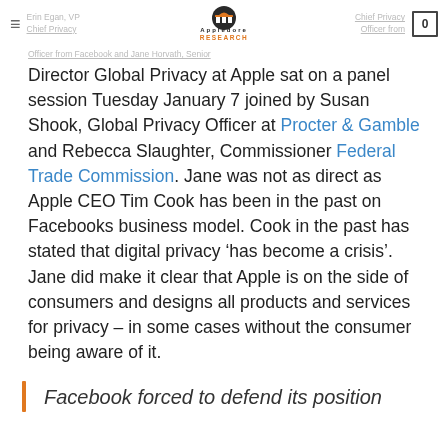Erin Egan, VP [logo: Appledore Research] Chief Privacy Officer from Facebook and Jane Horvath, Senior
Director Global Privacy at Apple sat on a panel session Tuesday January 7 joined by Susan Shook, Global Privacy Officer at Procter & Gamble and Rebecca Slaughter, Commissioner Federal Trade Commission. Jane was not as direct as Apple CEO Tim Cook has been in the past on Facebooks business model. Cook in the past has stated that digital privacy ‘has become a crisis’. Jane did make it clear that Apple is on the side of consumers and designs all products and services for privacy – in some cases without the consumer being aware of it.
Facebook forced to defend its position